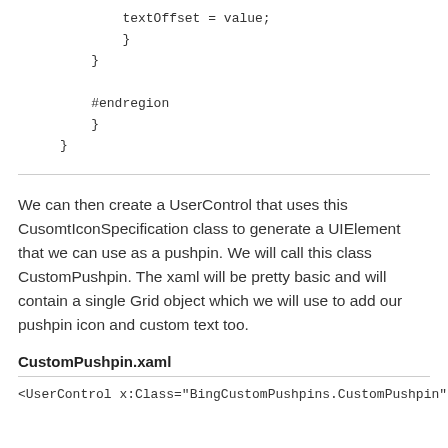textOffset = value;
    }
  }

  #endregion
}
}
We can then create a UserControl that uses this CusomtIconSpecification class to generate a UIElement that we can use as a pushpin. We will call this class CustomPushpin. The xaml will be pretty basic and will contain a single Grid object which we will use to add our pushpin icon and custom text too.
CustomPushpin.xaml
<UserControl x:Class="BingCustomPushpins.CustomPushpin"